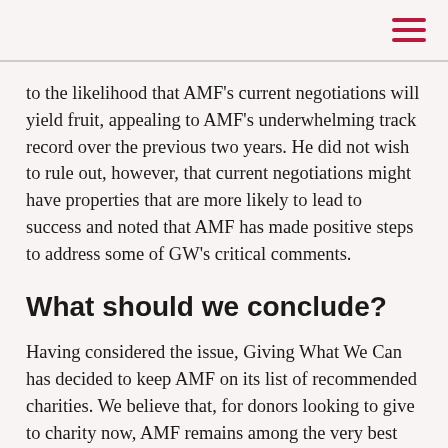to the likelihood that AMF's current negotiations will yield fruit, appealing to AMF's underwhelming track record over the previous two years. He did not wish to rule out, however, that current negotiations might have properties that are more likely to lead to success and noted that AMF has made positive steps to address some of GW's critical comments.
What should we conclude?
Having considered the issue, Giving What We Can has decided to keep AMF on its list of recommended charities. We believe that, for donors looking to give to charity now, AMF remains among the very best opportunities for doing good. Whereas the concerns